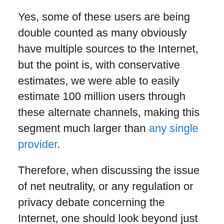Yes, some of these users are being double counted as many obviously have multiple sources to the Internet, but the point is, with conservative estimates, we were able to easily estimate 100 million users through these alternate channels, making this segment much larger than any single provider.
Therefore, when discussing the issue of net neutrality, or any regulation or privacy debate concerning the Internet, one should look beyond just the big-name providers. There's a good chance you'll find your own online experience regularly extends beyond these high-profile ISPs.
NetEqualizer bandwidth controllers are used in hotels, libraries, schools, WiFi hotspots and businesses around the world and have aided in the Internet experience of